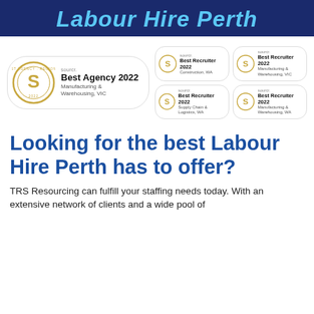Labour Hire Perth
[Figure (logo): Sourcr awards section showing Best Agency 2022 Manufacturing & Warehousing VIC badge and four Best Recruiter 2022 badges for Construction WA, Supply Chain & Logistics WA, Manufacturing & Warehousing VIC, and Manufacturing & Warehousing WA]
Looking for the best Labour Hire Perth has to offer?
TRS Resourcing can fulfill your staffing needs today. With an extensive network of clients and a wide pool of